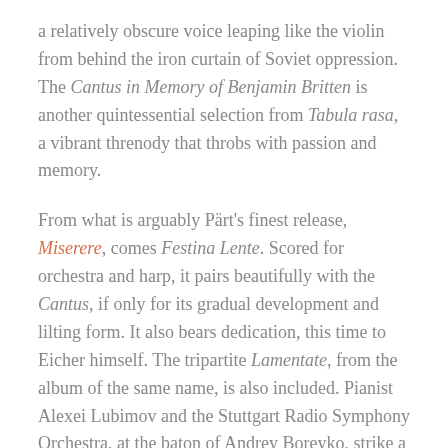a relatively obscure voice leaping like the violin from behind the iron curtain of Soviet oppression. The Cantus in Memory of Benjamin Britten is another quintessential selection from Tabula rasa, a vibrant threnody that throbs with passion and memory.
From what is arguably Pärt's finest release, Miserere, comes Festina Lente. Scored for orchestra and harp, it pairs beautifully with the Cantus, if only for its gradual development and lilting form. It also bears dedication, this time to Eicher himself. The tripartite Lamentate, from the album of the same name, is also included. Pianist Alexei Lubimov and the Stuttgart Radio Symphony Orchestra, at the baton of Andrey Boreyko, strike a most appropriate balance of lucidity and distortion in this fragile tone poem.